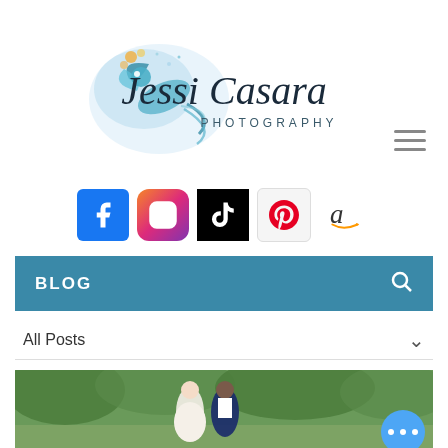[Figure (logo): Jessi Casara Photography logo with watercolor bird and script text]
[Figure (infographic): Social media icons row: Facebook, Instagram, TikTok, Pinterest, Amazon]
BLOG
All Posts
[Figure (photo): Two women in a forest setting, one in a white dress and one in a navy suit, appearing to be a wedding photo]